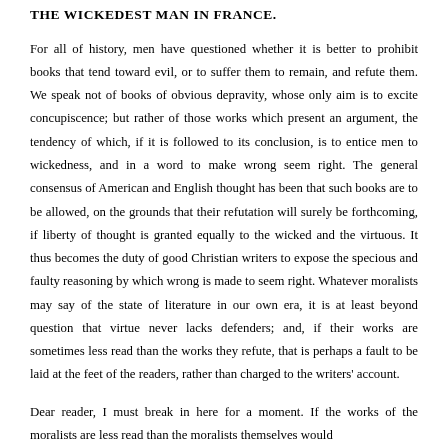THE WICKEDEST MAN IN FRANCE.
For all of history, men have questioned whether it is better to prohibit books that tend toward evil, or to suffer them to remain, and refute them. We speak not of books of obvious depravity, whose only aim is to excite concupiscence; but rather of those works which present an argument, the tendency of which, if it is followed to its conclusion, is to entice men to wickedness, and in a word to make wrong seem right. The general consensus of American and English thought has been that such books are to be allowed, on the grounds that their refutation will surely be forthcoming, if liberty of thought is granted equally to the wicked and the virtuous. It thus becomes the duty of good Christian writers to expose the specious and faulty reasoning by which wrong is made to seem right. Whatever moralists may say of the state of literature in our own era, it is at least beyond question that virtue never lacks defenders; and, if their works are sometimes less read than the works they refute, that is perhaps a fault to be laid at the feet of the readers, rather than charged to the writers' account.
Dear reader, I must break in here for a moment. If the works of the moralists are less read than the moralists themselves would like, perhaps the same moralists, themselves, would be able to tell us why.